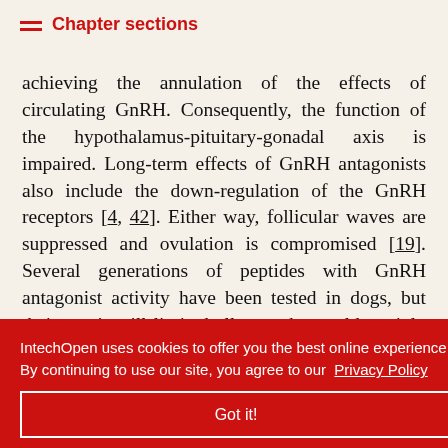Chapter sections
achieving the annulation of the effects of circulating GnRH. Consequently, the function of the hypothalamus-pituitary-gonadal axis is impaired. Long-term effects of GnRH antagonists also include the down-regulation of the GnRH receptors [4, 42]. Either way, follicular waves are suppressed and ovulation is compromised [19]. Several generations of peptides with GnRH antagonist activity have been tested in dogs, but their use is still limited all over the world, mainly because they present a rather low [...]rst [...] important [...] higher doses [...] fect. Peptide [...] rm estrus suppression [42, 43], which make them a poor agent
IntechOpen uses cookies to offer you the best online experience. By continuing to use our site, you agree to our Privacy Policy
Got it!